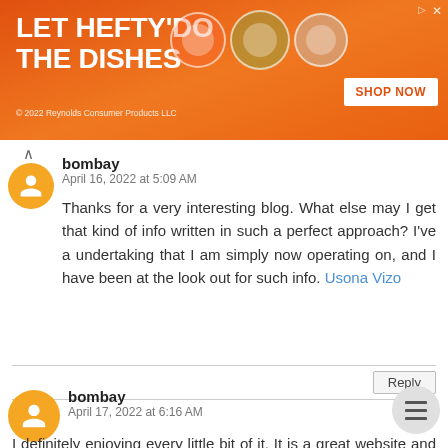[Figure (screenshot): Orange ad banner for Hefty dishes products with text 'LET HEFTY DO THE DISHES', product images, and SHOP NOW button]
bombay
April 16, 2022 at 5:09 AM

Thanks for a very interesting blog. What else may I get that kind of info written in such a perfect approach? I've a undertaking that I am simply now operating on, and I have been at the look out for such info. Usona Vizo
Reply
bombay
April 17, 2022 at 6:16 AM

I definitely enjoying every little bit of it. It is a great website and nice share. I want to thank you. Good